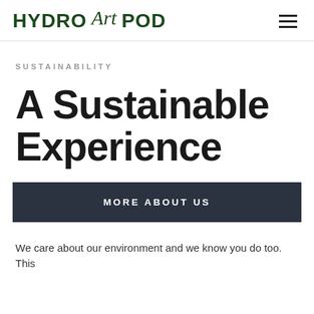HYDRO ART POD
SUSTAINABILITY
A Sustainable Experience
MORE ABOUT US
We care about our environment and we know you do too. This